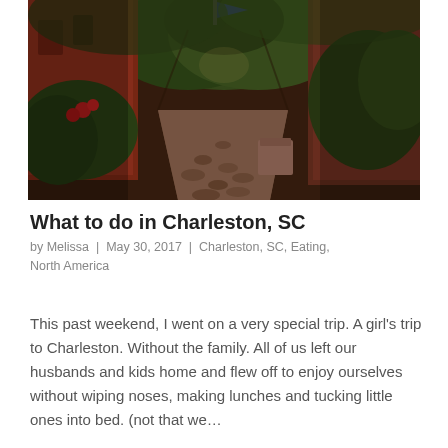[Figure (photo): A narrow cobblestone alley flanked by red brick buildings with lush green plants and trees overhead, with a flag visible at the top center.]
What to do in Charleston, SC
by Melissa  |  May 30, 2017  |  Charleston, SC, Eating, North America
This past weekend, I went on a very special trip. A girl's trip to Charleston. Without the family. All of us left our husbands and kids home and flew off to enjoy ourselves without wiping noses, making lunches and tucking little ones into bed. (not that we…